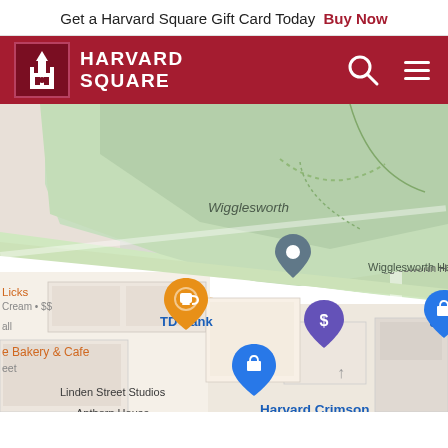Get a Harvard Square Gift Card Today  Buy Now
[Figure (screenshot): Harvard Square website navigation bar with logo (building icon + HARVARD SQUARE text in white on dark red background), search icon, and menu icon]
[Figure (map): Google Maps screenshot showing Harvard Square area including Wigglesworth Hall C, Lamont Library, Harvard Book Store (red pin), TD Bank, Linden Street Studios, Apthorp House, Harvard Crimson, with various map pins for businesses and landmarks. Bow Street visible on right side.]